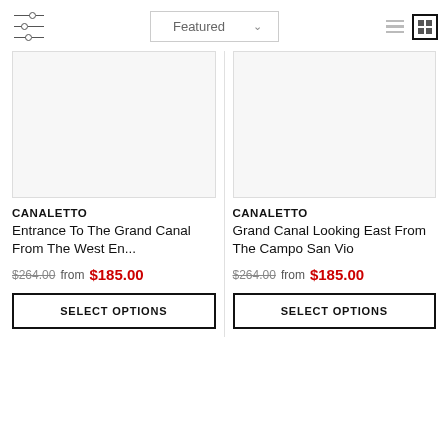[Figure (screenshot): Filter/sort toolbar with filter icon, Featured dropdown, and list/grid view toggle buttons]
[Figure (photo): Product image placeholder for Canaletto painting (left)]
CANALETTO
Entrance To The Grand Canal From The West En...
$264.00  from  $185.00
SELECT OPTIONS
[Figure (photo): Product image placeholder for Canaletto painting (right)]
CANALETTO
Grand Canal Looking East From The Campo San Vio
$264.00  from  $185.00
SELECT OPTIONS